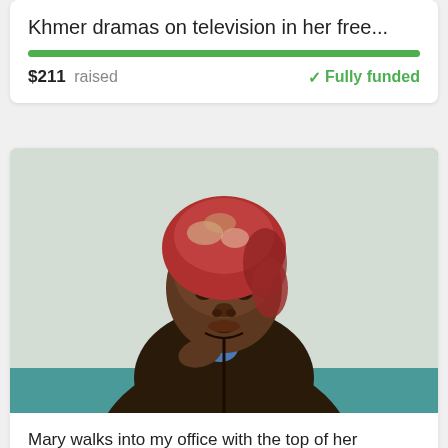Khmer dramas on television in her free…
$211 raised — Fully funded
[Figure (photo): Portrait photo of an elderly African woman wearing a colorful patterned headscarf and a dark brown zip-up cardigan over a blue shirt, smiling gently, hand near her chest, against a light background with a teal-colored surface visible at the bottom.]
Mary walks into my office with the top of her cardigan covering her chin. She sits